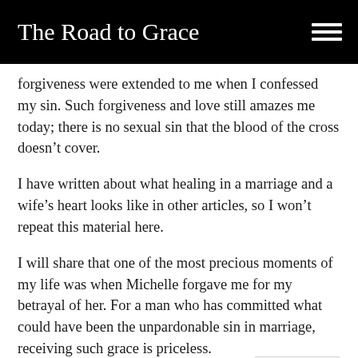The Road to Grace
forgiveness were extended to me when I confessed my sin. Such forgiveness and love still amazes me today; there is no sexual sin that the blood of the cross doesn't cover.
I have written about what healing in a marriage and a wife's heart looks like in other articles, so I won't repeat this material here.
I will share that one of the most precious moments of my life was when Michelle forgave me for my betrayal of her. For a man who has committed what could have been the unpardonable sin in marriage, receiving such grace is priceless.
In 2006, fifteen years after that day in 1991 wh called Michelle and confessed my adultery, I asked